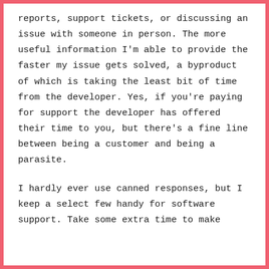reports, support tickets, or discussing an issue with someone in person. The more useful information I'm able to provide the faster my issue gets solved, a byproduct of which is taking the least bit of time from the developer. Yes, if you're paying for support the developer has offered their time to you, but there's a fine line between being a customer and being a parasite.
I hardly ever use canned responses, but I keep a select few handy for software support. Take some extra time to make